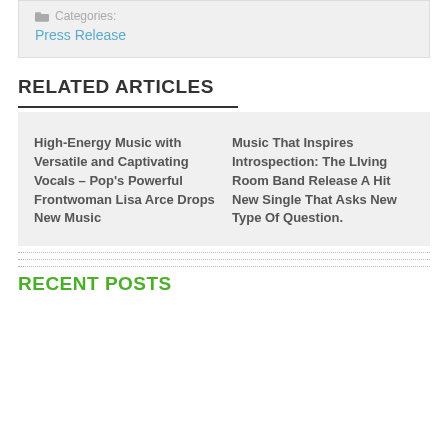Categories:
Press Release
RELATED ARTICLES
High-Energy Music with Versatile and Captivating Vocals – Pop's Powerful Frontwoman Lisa Arce Drops New Music
Music That Inspires Introspection: The LIving Room Band Release A Hit New Single That Asks New Type Of Question.
RECENT POSTS